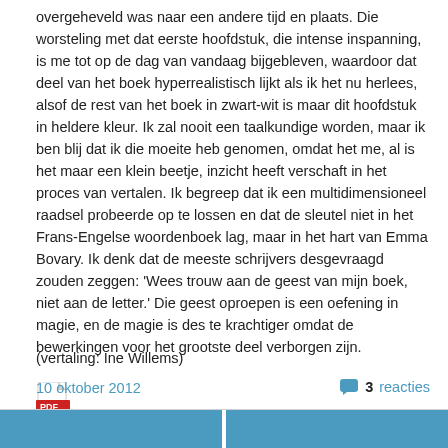overgeheveld was naar een andere tijd en plaats. Die worsteling met dat eerste hoofdstuk, die intense inspanning, is me tot op de dag van vandaag bijgebleven, waardoor dat deel van het boek hyperrealistisch lijkt als ik het nu herlees, alsof de rest van het boek in zwart-wit is maar dit hoofdstuk in heldere kleur. Ik zal nooit een taalkundige worden, maar ik ben blij dat ik die moeite heb genomen, omdat het me, al is het maar een klein beetje, inzicht heeft verschaft in het proces van vertalen. Ik begreep dat ik een multidimensioneel raadsel probeerde op te lossen en dat de sleutel niet in het Frans-Engelse woordenboek lag, maar in het hart van Emma Bovary. Ik denk dat de meeste schrijvers desgevraagd zouden zeggen: 'Wees trouw aan de geest van mijn boek, niet aan de letter.' Die geest oproepen is een oefening in magie, en de magie is des te krachtiger omdat de bewerkingen voor het grootste deel verborgen zijn.
(vertaling: Ine Willems)
[Figure (other): PDF file icon (red Adobe PDF icon)]
10 oktober 2012
3 reacties